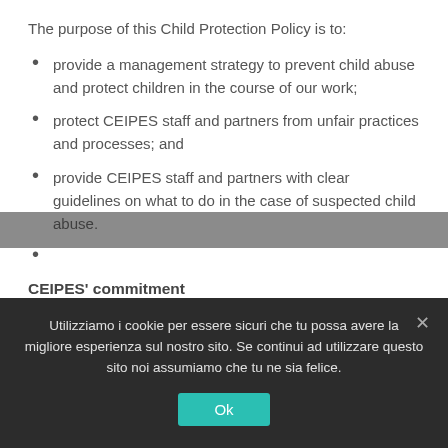The purpose of this Child Protection Policy is to:
provide a management strategy to prevent child abuse and protect children in the course of our work;
protect CEIPES staff and partners from unfair practices and processes; and
provide CEIPES staff and partners with clear guidelines on what to do in the case of suspected child abuse.
CEIPES' commitment
CEIPES' commitment to child protection will be guided
Utilizziamo i cookie per essere sicuri che tu possa avere la migliore esperienza sul nostro sito. Se continui ad utilizzare questo sito noi assumiamo che tu ne sia felice.